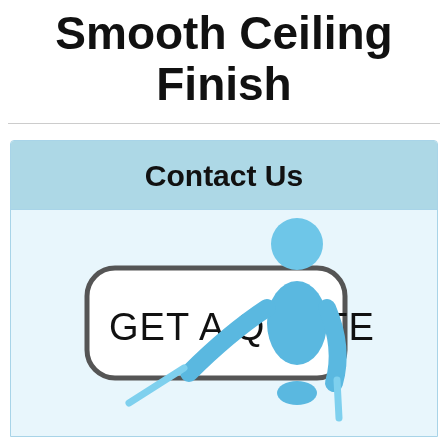Smooth Ceiling Finish
Contact Us
[Figure (illustration): A blue 3D figure holding a rounded rectangle sign that reads 'GET A QUOTE']